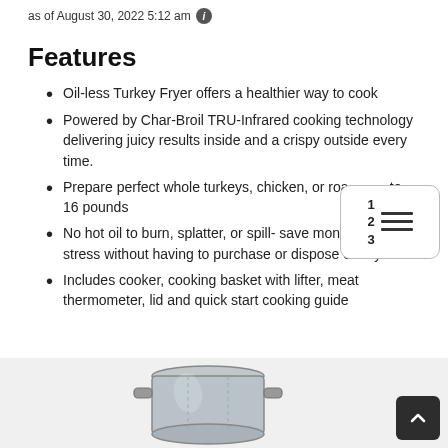as of August 30, 2022 5:12 am ℹ
Features
Oil-less Turkey Fryer offers a healthier way to cook
Powered by Char-Broil TRU-Infrared cooking technology delivering juicy results inside and a crispy outside every time.
Prepare perfect whole turkeys, chicken, or roasts up to 16 pounds
No hot oil to burn, splatter, or spill- save money and stress without having to purchase or dispose of any oil
Includes cooker, cooking basket with lifter, meat thermometer, lid and quick start cooking guide
[Figure (photo): Large aluminum cooking pot with lid and handles at bottom of page]